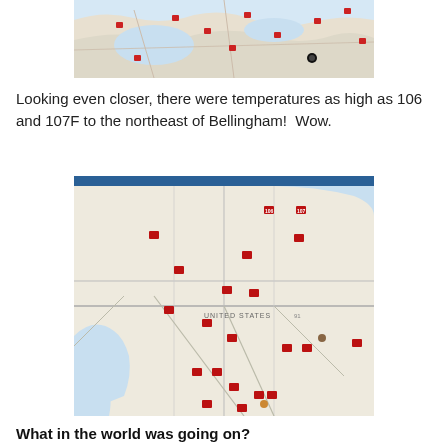[Figure (map): Aerial map view showing the Bellingham/Pacific Northwest area with red square markers indicating temperature measurement stations across a water and land area with terrain features.]
Looking even closer, there were temperatures as high as 106 and 107F to the northeast of Bellingham!  Wow.
[Figure (map): Closer street-level map of the Bellingham, Washington area (showing US/Canada border region) with numerous red square markers indicating high temperature readings, with a blue header bar at the top. Labels include 'UNITED STATES' text. Temperature markers visible across roads and geographic features.]
What in the world was going on?